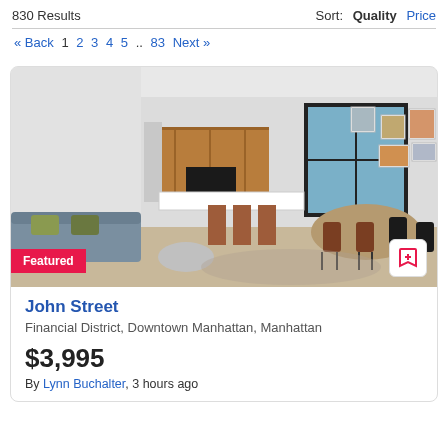830 Results
Sort: Quality Price
« Back 1 2 3 4 5 .. 83 Next »
[Figure (photo): Interior photo of a modern apartment showing living area with gray sofa, dining table with brown chairs, kitchen bar with brown stools, wood cabinets, black appliances, and framed art on the wall.]
John Street
Financial District, Downtown Manhattan, Manhattan
$3,995
By Lynn Buchalter, 3 hours ago